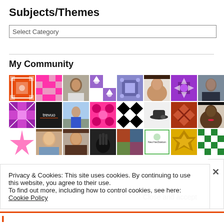Subjects/Themes
Select Category
My Community
[Figure (photo): Grid of 24 avatar/profile images in a 8-column, 3-row layout showing colorful geometric pattern avatars and portrait photos of various people.]
Privacy & Cookies: This site uses cookies. By continuing to use this website, you agree to their use.
To find out more, including how to control cookies, see here: Cookie Policy
Close and accept